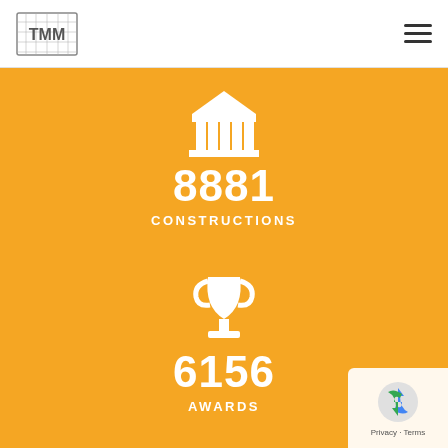TMM logo and navigation
[Figure (infographic): Building/columns icon (construction) on orange background with stat: 8881 CONSTRUCTIONS]
8881
CONSTRUCTIONS
[Figure (infographic): Trophy icon on orange background with stat: 6156 AWARDS]
6156
AWARDS